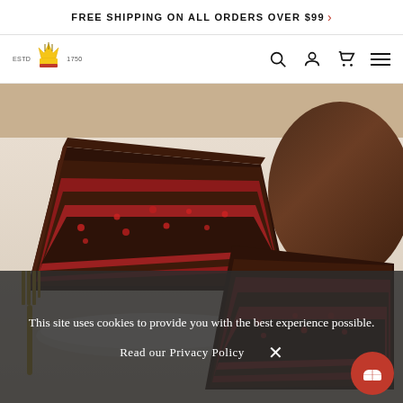FREE SHIPPING ON ALL ORDERS OVER $99 >
[Figure (logo): Bakery crown logo with ESTD 1750 text]
[Figure (photo): Slices of layered chocolate raspberry cake on white plates with gold forks, and a whole chocolate frosted cake in background]
This site uses cookies to provide you with the best experience possible.
Read our Privacy Policy
[Figure (other): Red circular chat/help button with bread icon]